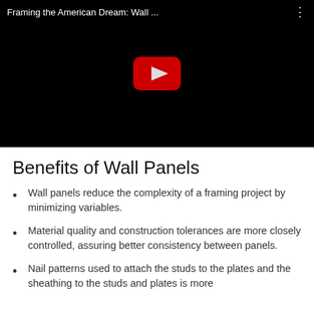[Figure (screenshot): YouTube video thumbnail with black background and red play button, titled 'Framing the American Dream: Wall ...']
Benefits of Wall Panels
Wall panels reduce the complexity of a framing project by minimizing variables.
Material quality and construction tolerances are more closely controlled, assuring better consistency between panels.
Nail patterns used to attach the studs to the plates and the sheathing to the studs and plates is more